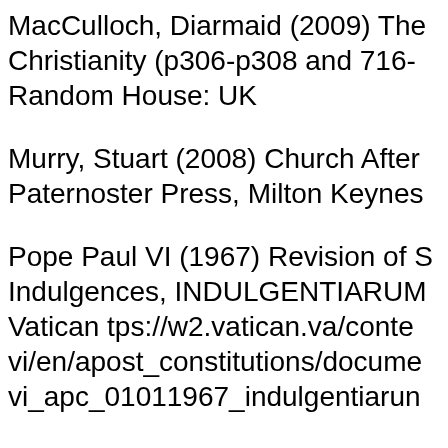MacCulloch, Diarmaid (2009) The Christianity (p306-p308 and 716- Random House: UK
Murry, Stuart (2008) Church After Paternoster Press, Milton Keynes
Pope Paul VI (1967) Revision of S Indulgences, INDULGENTIARUM Vatican tps://w2.vatican.va/conte vi/en/apost_constitutions/docume vi_apc_01011967_indulgentiarun